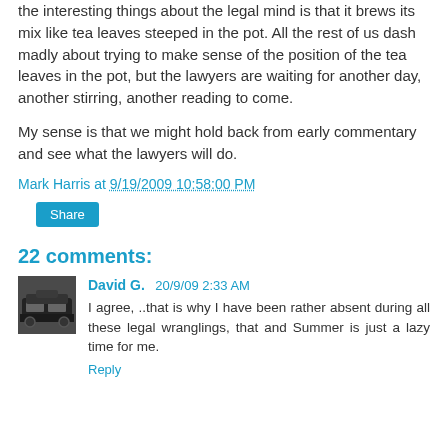the interesting things about the legal mind is that it brews its mix like tea leaves steeped in the pot. All the rest of us dash madly about trying to make sense of the position of the tea leaves in the pot, but the lawyers are waiting for another day, another stirring, another reading to come.
My sense is that we might hold back from early commentary and see what the lawyers will do.
Mark Harris at 9/19/2009 10:58:00 PM
Share
22 comments:
[Figure (photo): Avatar photo of commenter David G., showing a dark vehicle.]
David G.  20/9/09 2:33 AM
I agree, ..that is why I have been rather absent during all these legal wranglings, that and Summer is just a lazy time for me.
Reply